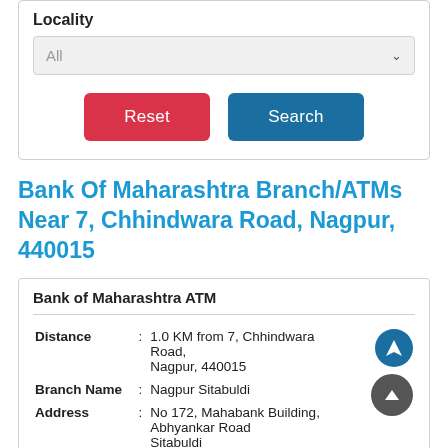Locality
All
Reset
Search
Bank Of Maharashtra Branch/ATMs Near 7, Chhindwara Road, Nagpur, 440015
Bank of Maharashtra ATM
| Field |  | Value |
| --- | --- | --- |
| Distance | : | 1.0 KM from 7, Chhindwara Road, Nagpur, 440015 |
| Branch Name | : | Nagpur Sitabuldi |
| Address | : | No 172, Mahabank Building, Abhyankar Road Sitabuldi
Nagpur - 440012 |
| Hours | : | Open 24 Hours |